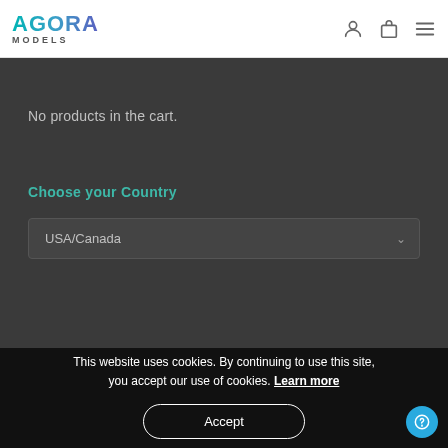AGORA MODELS
No products in the cart.
Choose your Country
USA/Canada
This website uses cookies. By continuing to use this site, you accept our use of cookies. Learn more
Accept